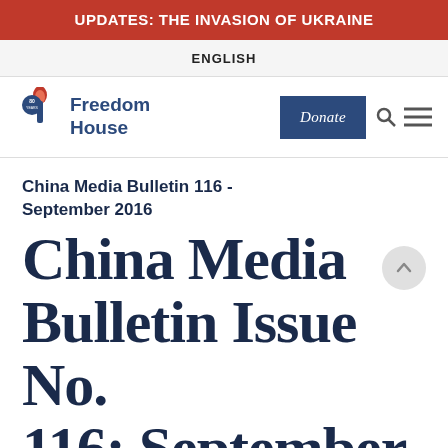UPDATES: THE INVASION OF UKRAINE
ENGLISH
[Figure (logo): Freedom House logo with torch icon and '80 years' badge, dark blue text reading 'Freedom House']
China Media Bulletin 116 - September 2016
China Media Bulletin Issue No. 116: September 2016